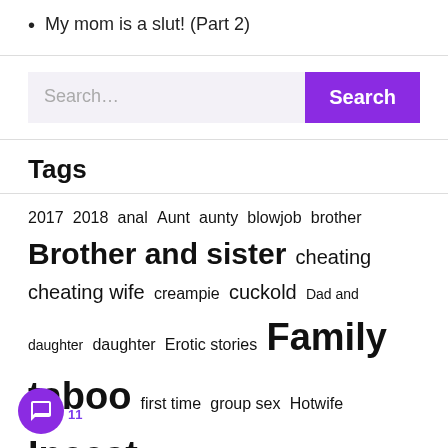My mom is a slut! (Part 2)
Search...
Tags
2017 2018 anal Aunt aunty blowjob brother Brother and sister cheating cheating wife creampie cuckold Dad and daughter daughter Erotic stories Family taboo first time group sex Hotwife Incest incest-sex-stories Incest stories Indian indiansexstories Indian sex stories mature Milf milf-stories mom Mom and son Mom son mother mother son Porn stories pussy Real sex stories Sex stories